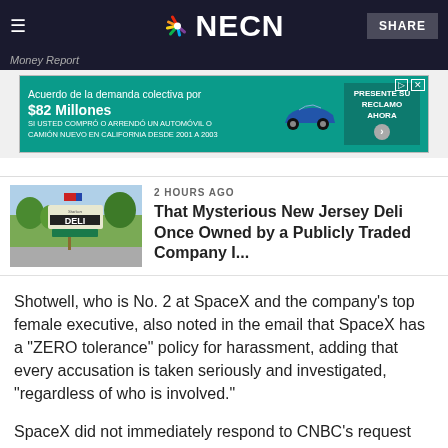NECN — Money Report
[Figure (photo): Advertisement banner: Acuerdo de la demanda colectiva por $82 Millones. Si usted compró o arrendó un automóvil o camión nuevo en California desde 2001 a 2003. Presente su reclamo ahora.]
[Figure (photo): Thumbnail photo of a deli sign outdoors with trees in background]
2 HOURS AGO
That Mysterious New Jersey Deli Once Owned by a Publicly Traded Company I...
Shotwell, who is No. 2 at SpaceX and the company's top female executive, also noted in the email that SpaceX has a "ZERO tolerance" policy for harassment, adding that every accusation is taken seriously and investigated, "regardless of who is involved."
SpaceX did not immediately respond to CNBC's request for comment on Shotwell's email.